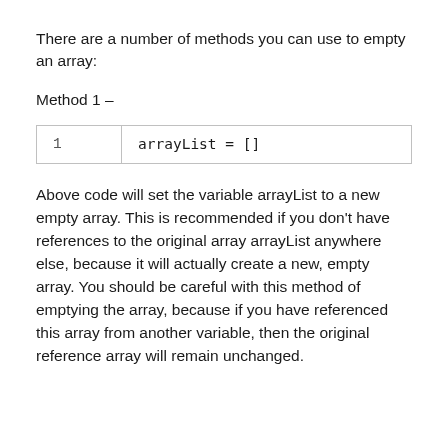There are a number of methods you can use to empty an array:
Method 1 –
| 1 | arrayList = [] |
Above code will set the variable arrayList to a new empty array. This is recommended if you don't have references to the original array arrayList anywhere else, because it will actually create a new, empty array. You should be careful with this method of emptying the array, because if you have referenced this array from another variable, then the original reference array will remain unchanged.